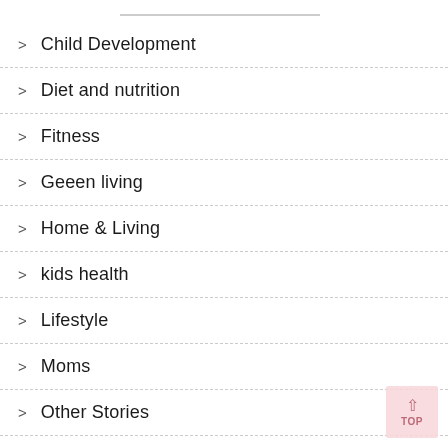Child Development
Diet and nutrition
Fitness
Geeen living
Home & Living
kids health
Lifestyle
Moms
Other Stories